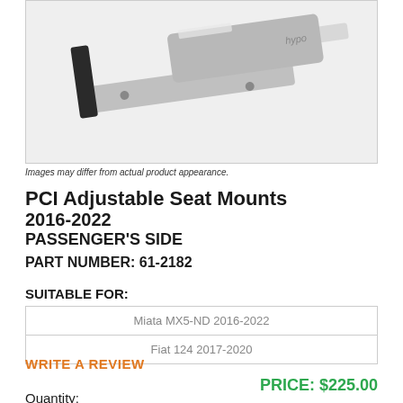[Figure (photo): Product photo of PCI Adjustable Seat Mounts hardware piece, shown on light gray background. The mount appears to be a metal bracket assembly in silver/black finish.]
Images may differ from actual product appearance.
PCI Adjustable Seat Mounts 2016-2022 PASSENGER'S SIDE
PART NUMBER: 61-2182
SUITABLE FOR:
| Miata MX5-ND 2016-2022 |
| Fiat 124 2017-2020 |
WRITE A REVIEW
PRICE: $225.00
Quantity: